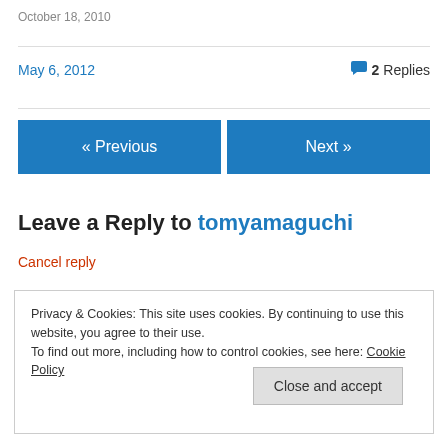October 18, 2010
May 6, 2012
2 Replies
« Previous
Next »
Leave a Reply to tomyamaguchi
Cancel reply
Privacy & Cookies: This site uses cookies. By continuing to use this website, you agree to their use.
To find out more, including how to control cookies, see here: Cookie Policy
Close and accept